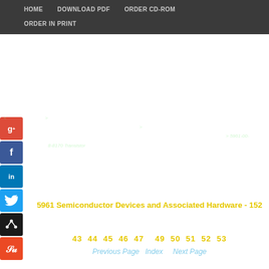HOME   DOWNLOAD PDF   ORDER CD-ROM   ORDER IN PRINT
> 5961-00-
8-8170 Transistor
5961 Semiconductor Devices and Associated Hardware - 152
43  44  45  46  47    49  50  51  52  53
Previous Page   Index      Next Page